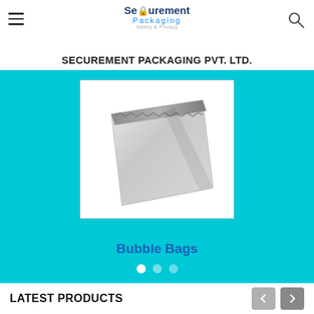SECUREMENT PACKAGING PVT. LTD.
[Figure (photo): A silver/grey bubble bag (padded mailer envelope) shown at an angle against a white background, inside a white product card on a teal/cyan banner. Below the image is the text 'Bubble Bags' in blue. Three navigation dots appear at the bottom of the banner.]
Bubble Bags
LATEST PRODUCTS